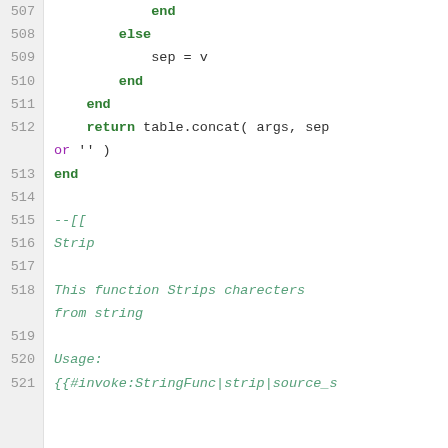507     end
508     else
509         sep = v
510     end
511     end
512     return table.concat( args, sep
        or '' )
513 end
514
515 --[[
516 Strip
517
518 This function Strips charecters
    from string
519
520 Usage:
521 {{#invoke:StringFunc|strip|source_s